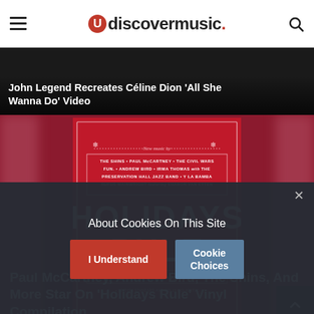udiscovermusic.
John Legend Recreates Céline Dion 'All She Wanna Do' Video
[Figure (photo): Album cover for 'Holidays Rule' vinyl compilation on red background with artist names including The Shins, Paul McCartney, The Civil Wars, Fun., Andrew Bird, Irma Thomas with The Preservation Hall Jazz Band, Y La Bamba, Rufus Wainwright featuring Sharon Van Etten, Heartless Bastards, Eleanor Friedberger]
Paul McCartney, Andrew Bird, The Shins, And More Star On 'Holidays Rule' Vinyl Compilation
MOST POPULAR
About Cookies On This Site
I Understand
Cookie Choices